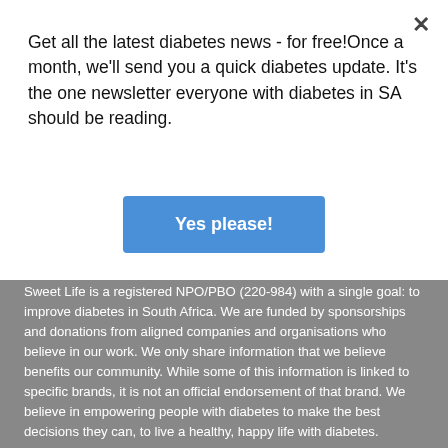Get all the latest diabetes news - for free!Once a month, we'll send you a quick diabetes update. It's the one newsletter everyone with diabetes in SA should be reading.
Yes please!
Sweet Life is a registered NPO/PBO (220-984) with a single goal: to improve diabetes in South Africa. We are funded by sponsorships and donations from aligned companies and organisations who believe in our work. We only share information that we believe benefits our community. While some of this information is linked to specific brands, it is not an official endorsement of that brand. We believe in empowering people with diabetes to make the best decisions they can, to live a healthy, happy life with diabetes.